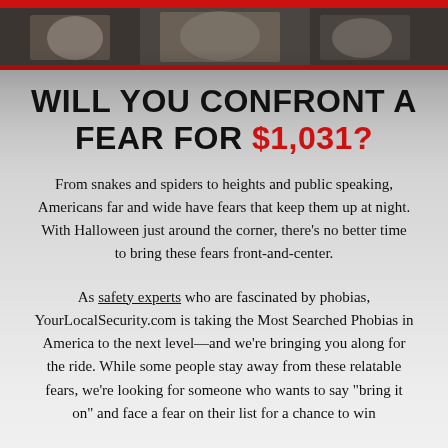[Figure (photo): Grayscale background image showing a textured natural scene (possibly hay, straw, or natural fibers) with a dark photo strip at top showing partial images of animals or creatures, with a red bar accent at the very top edge.]
WILL YOU CONFRONT A FEAR FOR $1,031?
From snakes and spiders to heights and public speaking, Americans far and wide have fears that keep them up at night. With Halloween just around the corner, there’s no better time to bring these fears front-and-center.
As safety experts who are fascinated by phobias, YourLocalSecurity.com is taking the Most Searched Phobias in America to the next level—and we’re bringing you along for the ride. While some people stay away from these relatable fears, we’re looking for someone who wants to say “bring it on” and face a fear on their list for a chance to win